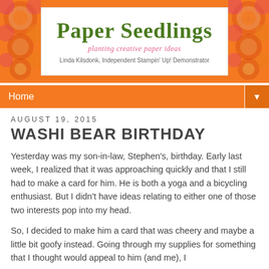[Figure (logo): Paper Seedlings blog header banner on orange background with decorative floral circles, white inner box containing blog title 'Paper Seedlings', subtitle 'planting creative paper ideas', and author 'Linda Kilsdonk, Independent Stampin' Up! Demonstrator']
Home
August 19, 2015
WASHI BEAR BIRTHDAY
Yesterday was my son-in-law, Stephen's, birthday. Early last week, I realized that it was approaching quickly and that I still had to make a card for him. He is both a yoga and a bicycling enthusiast. But I didn't have ideas relating to either one of those two interests pop into my head.
So, I decided to make him a card that was cheery and maybe a little bit goofy instead. Going through my supplies for something that I thought would appeal to him (and me), I